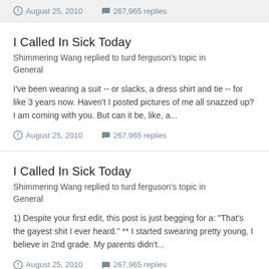August 25, 2010   267,965 replies
I Called In Sick Today
Shimmering Wang replied to turd ferguson's topic in General
I've been wearing a suit -- or slacks, a dress shirt and tie -- for like 3 years now. Haven't I posted pictures of me all snazzed up? I am coming with you. But can it be, like, a...
August 25, 2010   267,965 replies
I Called In Sick Today
Shimmering Wang replied to turd ferguson's topic in General
1) Despite your first edit, this post is just begging for a: "That's the gayest shit I ever heard." ** I started swearing pretty young, I believe in 2nd grade. My parents didn't...
August 25, 2010   267,965 replies